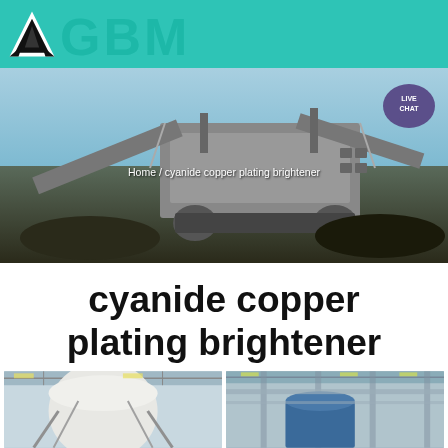[Figure (logo): GBM company logo with triangular black geometric shape and teal GBM text on teal header bar]
[Figure (photo): Hero banner image of large industrial mining/crushing machinery (mobile crusher) outdoors on a site with blue sky. Breadcrumb overlay reads 'Home / cyanide copper plating brightener'. Live Chat speech bubble in top right.]
cyanide copper plating brightener
[Figure (photo): Left bottom photo: interior of industrial building showing large white silo/tank structure with structural steel supports]
[Figure (photo): Right bottom photo: interior of industrial warehouse/factory with steel structure and blue equipment visible]